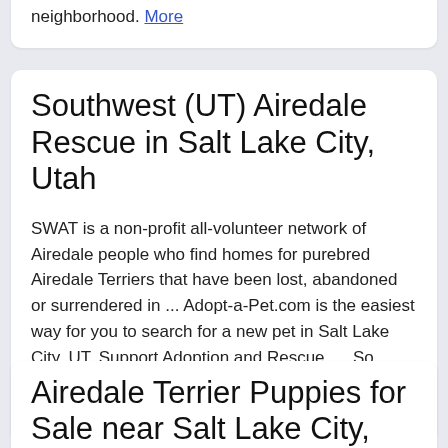neighborhood. More
Southwest (UT) Airedale Rescue in Salt Lake City, Utah
SWAT is a non-profit all-volunteer network of Airedale people who find homes for purebred Airedale Terriers that have been lost, abandoned or surrendered in ... Adopt-a-Pet.com is the easiest way for you to search for a new pet in Salt Lake City, UT. Support Adoption and Rescue. ... So rather than buying a dog or puppy for sale from a dog ... More
Airedale Terrier Puppies for Sale near Salt Lake City,